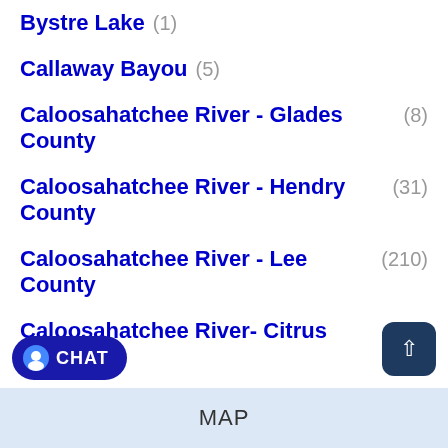Bystre Lake (1)
Callaway Bayou (5)
Caloosahatchee River - Glades County (8)
Caloosahatchee River - Hendry County (31)
Caloosahatchee River - Lee County (210)
Caloosahatchee River- Citrus County (7)
Camp Creek Lake (6)
Cap Knight Bayou (2)
Cape Coral Lakes and Canals (698)
Cape Harbour (4)
MAP